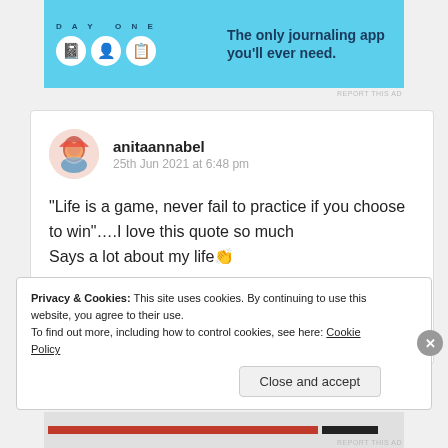[Figure (illustration): Day One journaling app advertisement banner with blue background, circular icons, and text 'The only journaling app you'll ever need.']
REPORT THIS AD
anitaannabel
25th Jun 2021 at 6:48 pm
“Life is a game, never fail to practice if you choose to win”….I love this quote so much Says a lot about my life👏
Privacy & Cookies: This site uses cookies. By continuing to use this website, you agree to their use.
To find out more, including how to control cookies, see here: Cookie Policy
Close and accept